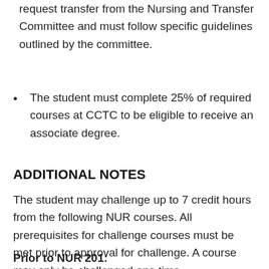request transfer from the Nursing and Transfer Committee and must follow specific guidelines outlined by the committee.
The student must complete 25% of required courses at CCTC to be eligible to receive an associate degree.
ADDITIONAL NOTES
The student may challenge up to 7 credit hours from the following NUR courses. All prerequisites for challenge courses must be met prior to approval for challenge. A course may only be challenged one time.
Prior to NUR 201:
Nur 106 – Pharmacologic Basics in Nursing Practice